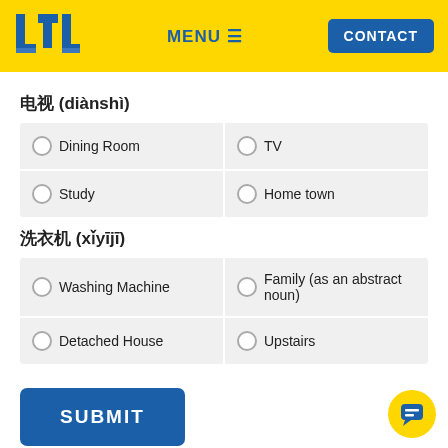[Figure (logo): LTL logo in blue on yellow background with MENU and CONTACT navigation]
电视 (diànshì)
Dining Room
TV
Study
Home town
洗衣机 (xǐyījī)
Washing Machine
Family (as an abstract noun)
Detached House
Upstairs
SUBMIT